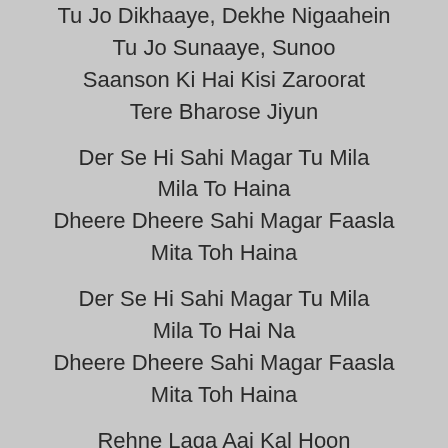Tu Jo Dikhaaye, Dekhe Nigaahein
Tu Jo Sunaaye, Sunoo
Saanson Ki Hai Kisi Zaroorat
Tere Bharose Jiyun
Der Se Hi Sahi Magar Tu Mila
Mila To Haina
Dheere Dheere Sahi Magar Faasla
Mita Toh Haina
Der Se Hi Sahi Magar Tu Mila
Mila To Hai Na
Dheere Dheere Sahi Magar Faasla
Mita Toh Haina
Rehne Laga Aaj Kal Hoon
Main Paas Itna Tere
Saari Teri Aati Jaati